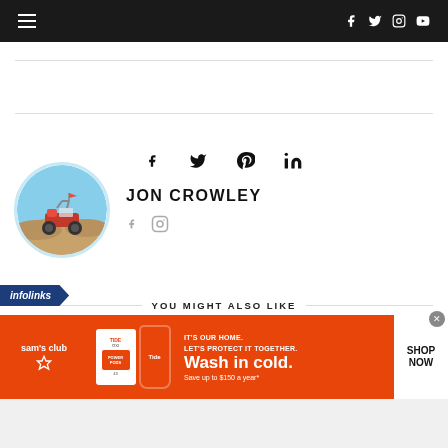Navigation bar with hamburger menu and social icons (Facebook, Twitter, Instagram, YouTube)
[Figure (screenshot): Share icons row: Facebook, Twitter, Pinterest, LinkedIn]
[Figure (screenshot): Author profile section with circular avatar of an off-road vehicle on desert dunes, name JON CROWLEY, and social icons (Facebook, Instagram)]
JON CROWLEY
YOU MIGHT ALSO LIKE
[Figure (screenshot): Infolinks badge and Sam's Club Tide advertisement banner. Text reads: IT'S OUR HOME. LET'S PROTECT IT TOGETHER. Wash in cold. Save up to $150 a year*. SHOP NOW]